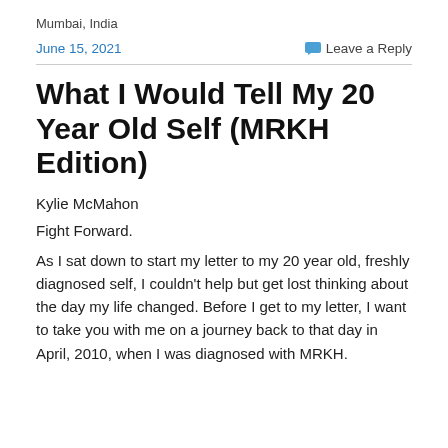Mumbai, India
June 15, 2021
Leave a Reply
What I Would Tell My 20 Year Old Self (MRKH Edition)
Kylie McMahon
Fight Forward.
As I sat down to start my letter to my 20 year old, freshly diagnosed self, I couldn't help but get lost thinking about the day my life changed. Before I get to my letter, I want to take you with me on a journey back to that day in April, 2010, when I was diagnosed with MRKH.